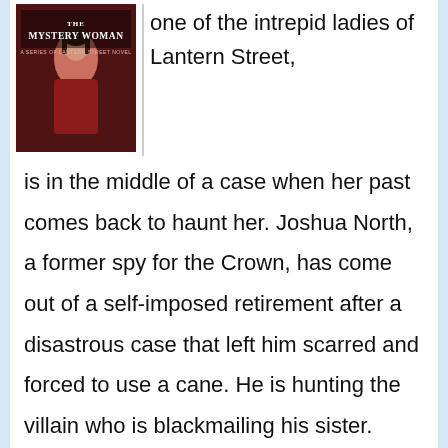[Figure (illustration): Book cover of 'The Mystery Woman' — a Lantern Street Novel, showing a woman in red Victorian dress]
one of the intrepid ladies of Lantern Street, is in the middle of a case when her past comes back to haunt her. Joshua North, a former spy for the Crown, has come out of a self-imposed retirement after a disastrous case that left him scarred and forced to use a cane. He is hunting the villain who is blackmailing his sister.